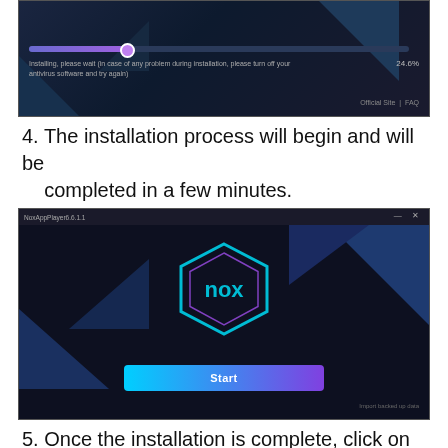[Figure (screenshot): NoxPlayer installer screenshot showing a progress bar at 24.6% with text: 'Installing, please wait (in case of any problem during installation, please turn off your antivirus software and try again)'. Bottom right shows 'Official Site | FAQ'.]
4. The installation process will begin and will be completed in a few minutes.
[Figure (screenshot): NoxPlayer (NoxAppPlayer6.6.1.1) application window showing the Nox hexagon logo in the center on a dark background with a Start button below. Bottom right shows 'Import backed up data'.]
5. Once the installation is complete, click on the Start button to start the NoxPlayer.